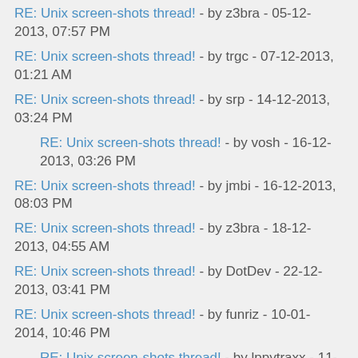RE: Unix screen-shots thread! - by z3bra - 05-12-2013, 07:57 PM
RE: Unix screen-shots thread! - by trgc - 07-12-2013, 01:21 AM
RE: Unix screen-shots thread! - by srp - 14-12-2013, 03:24 PM
RE: Unix screen-shots thread! - by vosh - 16-12-2013, 03:26 PM
RE: Unix screen-shots thread! - by jmbi - 16-12-2013, 08:03 PM
RE: Unix screen-shots thread! - by z3bra - 18-12-2013, 04:55 AM
RE: Unix screen-shots thread! - by DotDev - 22-12-2013, 03:41 PM
RE: Unix screen-shots thread! - by funriz - 10-01-2014, 10:46 PM
RE: Unix screen-shots thread! - by lppytraxx - 11-01-2014, 01:27 PM
RE: Unix screen-shots thread! - by venam - 11-01-2014, 12:10 PM
RE: Unix screen-shots thread! - by funriz - 11-01-2014, 06:17 PM
RE: Unix screen-shots thread! - by Mafia - 11-01-2014, 11:13 PM